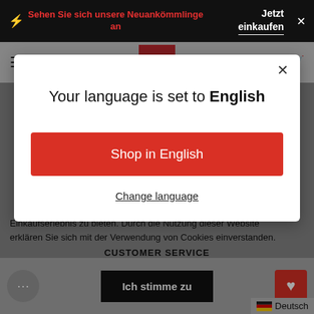Sehen Sie sich unsere Neuankömmlinge an   Jetzt einkaufen ×
[Figure (screenshot): Website navigation bar with hamburger menu, red logo, EU flag, search and cart icons]
Your language is set to English
Shop in English
Change language
Einkaufserlebnis zu bieten. Durch die Nutzung dieser Website erklären Sie sich mit der Verwendung von Cookies einverstanden.
CUSTOMER SERVICE
Ich stimme zu
Deutsch